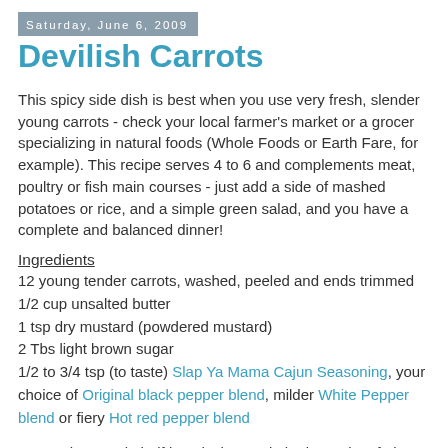Saturday, June 6, 2009
Devilish Carrots
This spicy side dish is best when you use very fresh, slender young carrots - check your local farmer's market or a grocer specializing in natural foods (Whole Foods or Earth Fare, for example). This recipe serves 4 to 6 and complements meat, poultry or fish main courses - just add a side of mashed potatoes or rice, and a simple green salad, and you have a complete and balanced dinner!
Ingredients
12 young tender carrots, washed, peeled and ends trimmed
1/2 cup unsalted butter
1 tsp dry mustard (powdered mustard)
2 Tbs light brown sugar
1/2 to 3/4 tsp (to taste) Slap Ya Mama Cajun Seasoning, your choice of Original black pepper blend, milder White Pepper blend or fiery Hot red pepper blend
Cut each carrot in half lengthwise. Melt the butter in a frying